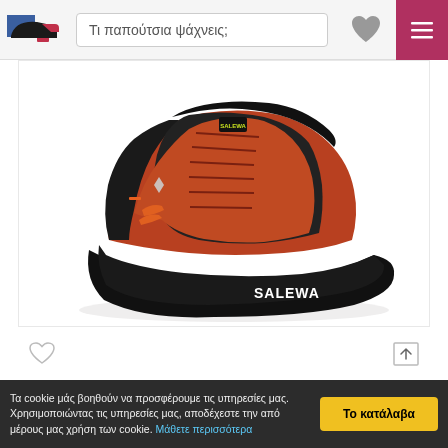Τι παπούτσια ψάχνεις:
[Figure (photo): Orange and black Salewa MS Dropline Leather hiking shoe on white background, viewed from the side, with SALEWA branding on the sole]
Salewa MS Dropline Leather M 61393 7519 sh...
219 €  182.33 €
Τα cookie μάς βοηθούν να προσφέρουμε τις υπηρεσίες μας. Χρησιμοποιώντας τις υπηρεσίες μας, αποδέχεστε την από μέρους μας χρήση των cookie. Μάθετε περισσότερα
Το κατάλαβα